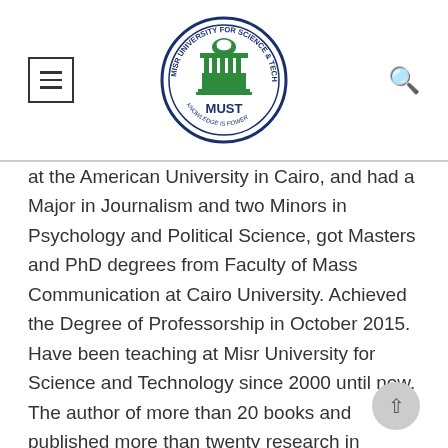[Figure (logo): Misr University for Science and Technology (MUST) circular logo with green building graphic in center and text around the border]
at the American University in Cairo, and had a Major in Journalism and two Minors in Psychology and Political Science, got Masters and PhD degrees from Faculty of Mass Communication at Cairo University. Achieved the Degree of Professorship in October 2015.  Have been teaching at Misr University for Science and Technology since 2000 until now. The author of more than 20 books and published more than twenty research in international periodicals and in international conferences.  She has represented MUST University in several International Conferences